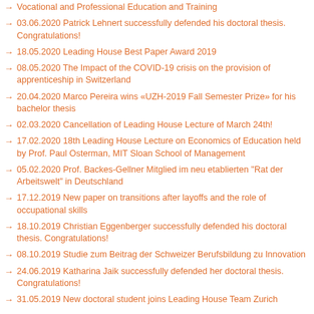Vocational and Professional Education and Training
03.06.2020 Patrick Lehnert successfully defended his doctoral thesis. Congratulations!
18.05.2020 Leading House Best Paper Award 2019
08.05.2020 The Impact of the COVID-19 crisis on the provision of apprenticeship in Switzerland
20.04.2020 Marco Pereira wins «UZH-2019 Fall Semester Prize» for his bachelor thesis
02.03.2020 Cancellation of Leading House Lecture of March 24th!
17.02.2020 18th Leading House Lecture on Economics of Education held by Prof. Paul Osterman, MIT Sloan School of Management
05.02.2020 Prof. Backes-Gellner Mitglied im neu etablierten "Rat der Arbeitswelt" in Deutschland
17.12.2019 New paper on transitions after layoffs and the role of occupational skills
18.10.2019 Christian Eggenberger successfully defended his doctoral thesis. Congratulations!
08.10.2019 Studie zum Beitrag der Schweizer Berufsbildung zu Innovation
24.06.2019 Katharina Jaik successfully defended her doctoral thesis. Congratulations!
31.05.2019 New doctoral student joins Leading House Team Zurich